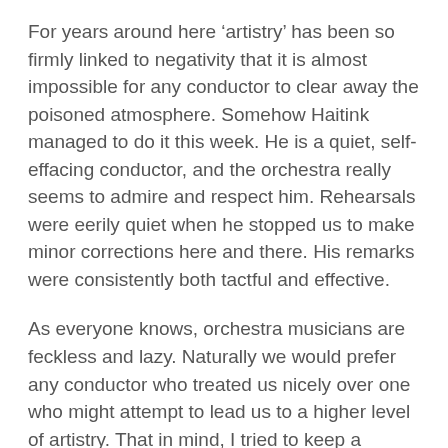For years around here ‘artistry’ has been so firmly linked to negativity that it is almost impossible for any conductor to clear away the poisoned atmosphere. Somehow Haitink managed to do it this week. He is a quiet, self-effacing conductor, and the orchestra really seems to admire and respect him. Rehearsals were eerily quiet when he stopped us to make minor corrections here and there. His remarks were consistently both tactful and effective.
As everyone knows, orchestra musicians are feckless and lazy. Naturally we would prefer any conductor who treated us nicely over one who might attempt to lead us to a higher level of artistry. That in mind, I tried to keep a critical ear on Haitink’s concerts to see if my sense of contentment vanished during the performance or the musical standards had slipped in any way. The concert is after all the time when all conductors are equal in the sense that the lecturers have to shut up and conduct while the nice guys have to show they have enough backbone to actually lead the orchestra.
Bruckner’s symphonies are like massive cathedrals built from thousands of notes. Conductors can become so